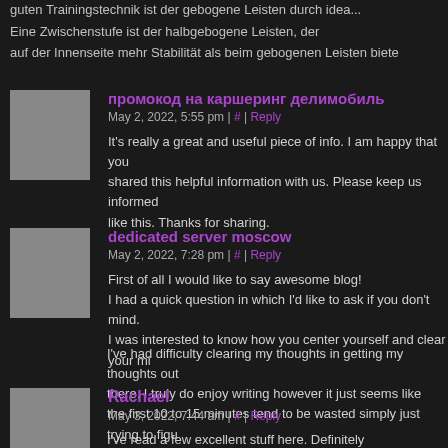guten Trainingstechnik ist der gebogene Leisten durch idea...
Eine Zwischenstufe ist der halbgebogene Leisten, der auf der Innenseite mehr Stabilität als beim gebogenen Leisten biete
промокод на каршеринг делимобиль
May 2, 2022, 5:55 pm | # | Reply
It's really a great and useful piece of info. I am happy that you shared this helpful information with us. Please keep us informed like this. Thanks for sharing.
dedicated server moscow
May 2, 2022, 7:28 pm | # | Reply
First of all I would like to say awesome blog! I had a quick question in which I'd like to ask if you don't mind. I was interested to know how you center yourself and clear your mi
I've had difficulty clearing my thoughts in getting my thoughts out there. I truly do enjoy writing however it just seems like the first 10 to 15 minutes tend to be wasted simply just trying to figu Thanks!
Rachael
May 3, 2022, 7:44 am | # | Reply
I've read a few excellent stuff here. Definitely value bookmarking for revisiting. I wonder how so